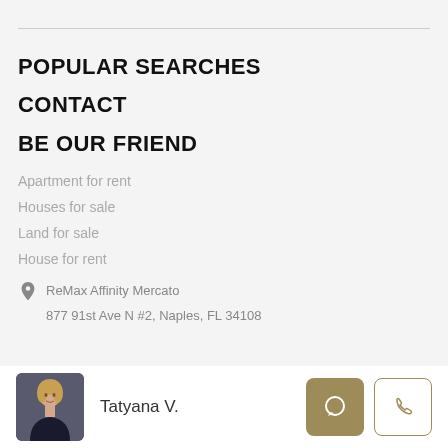POPULAR SEARCHES
CONTACT
BE OUR FRIEND
Apartment for rent
Houses for sale
Land for sale
House for rent
ReMax Affinity Mercato
877 91st Ave N #2, Naples, FL 34108
Tatyana V.